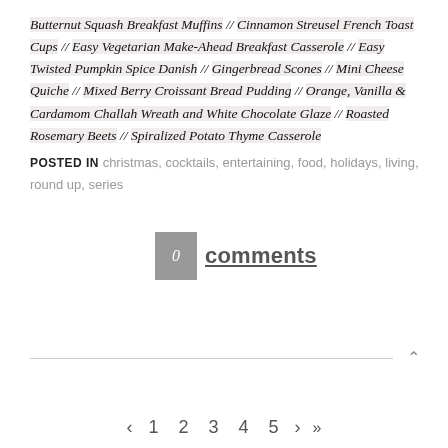Butternut Squash Breakfast Muffins // Cinnamon Streusel French Toast Cups // Easy Vegetarian Make-Ahead Breakfast Casserole // Easy Twisted Pumpkin Spice Danish // Gingerbread Scones // Mini Cheese Quiche // Mixed Berry Croissant Bread Pudding // Orange, Vanilla & Cardamom Challah Wreath and White Chocolate Glaze // Roasted Rosemary Beets // Spiralized Potato Thyme Casserole
POSTED IN christmas, cocktails, entertaining, food, holidays, living, round up, series
0 comments
< 1 2 3 4 5 > >>